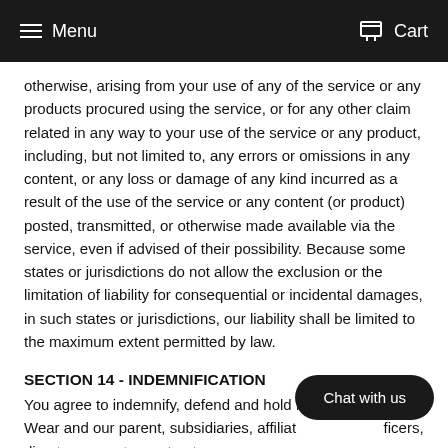Menu  Cart
otherwise, arising from your use of any of the service or any products procured using the service, or for any other claim related in any way to your use of the service or any product, including, but not limited to, any errors or omissions in any content, or any loss or damage of any kind incurred as a result of the use of the service or any content (or product) posted, transmitted, or otherwise made available via the service, even if advised of their possibility. Because some states or jurisdictions do not allow the exclusion or the limitation of liability for consequential or incidental damages, in such states or jurisdictions, our liability shall be limited to the maximum extent permitted by law.
SECTION 14 - INDEMNIFICATION
You agree to indemnify, defend and hold harmless Afreeka Wear and our parent, subsidiaries, affiliates, partners, officers, directors, agents, contractors, licensors, subcontractors, suppliers, interns and employees, harmless from any claim or demand, including reasonable attorneys' fees, made by any third-party due to or arising out of